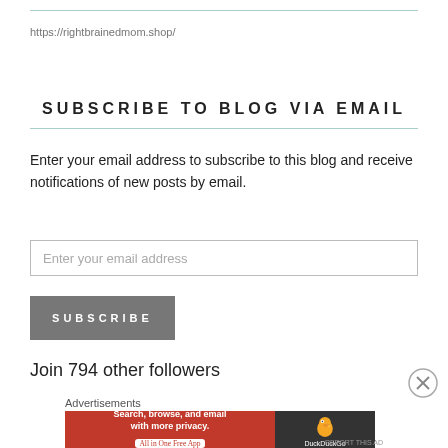https://rightbrainedmom.shop/
SUBSCRIBE TO BLOG VIA EMAIL
Enter your email address to subscribe to this blog and receive notifications of new posts by email.
Enter your email address
SUBSCRIBE
Join 794 other followers
Advertisements
[Figure (other): DuckDuckGo advertisement banner: orange section with 'Search, browse, and email with more privacy. All in One Free App' and dark section with DuckDuckGo duck logo and name]